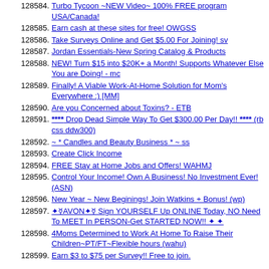128584. Turbo Tycoon ~NEW Video~ 100% FREE program USA/Canada!
128585. Earn cash at these sites for free! OWGSS
128586. Take Surveys Online and Get $5.00 For Joining! sv
128587. Jordan Essentials-New Spring Catalog & Products
128588. NEW! Turn $15 into $20K+ a Month! Supports Whatever Else You are Doing! - mc
128589. Finally! A Viable Work-At-Home Solution for Mom's Everywhere :) [MM]
128590. Are you Concerned about Toxins? - ETB
128591. **** Drop Dead Simple Way To Get $300.00 Per Day!! **** (rb css ddw300)
128592. ~ * Candles and Beauty Business * ~ ss
128593. Create Click Income
128594. FREE Stay at Home Jobs and Offers! WAHMJ
128595. Control Your Income! Own A Business! No Investment Ever! (ASN)
128596. New Year ~ New Beginings! Join Watkins + Bonus! (wp)
128597. ✦☿AVON✦☿ Sign YOURSELF Up ONLINE Today, NO Need To MEET In PERSON-Get STARTED NOW!! ✦ ✦
128598. 4Moms Determined to Work At Home To Raise Their Children~PT/FT~Flexible hours (wahu)
128599. Earn $3 to $75 per Survey!! Free to join.